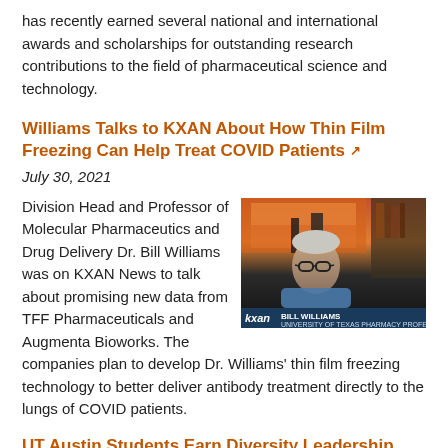has recently earned several national and international awards and scholarships for outstanding research contributions to the field of pharmaceutical science and technology.
Williams Talks to KXAN About How Thin Film Freezing Can Help Treat COVID Patients
July 30, 2021
[Figure (photo): Dr. Bill Williams on KXAN News video call, shown on screen with lower-third graphic reading 'BILL WILLIAMS – UNIVERSITY OF TEXAS PHARMACY PROFESSOR' and kxan logo]
Division Head and Professor of Molecular Pharmaceutics and Drug Delivery Dr. Bill Williams was on KXAN News to talk about promising new data from TFF Pharmaceuticals and Augmenta Bioworks. The companies plan to develop Dr. Williams' thin film freezing technology to better deliver antibody treatment directly to the lungs of COVID patients.
UT Austin Students Earn Diversity Leadership Awards
June 14, 2021